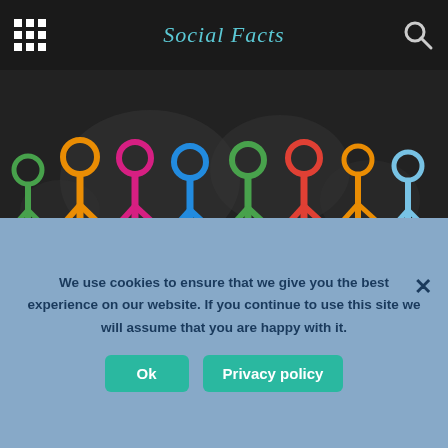Social Facts
[Figure (illustration): Colorful chalk-drawn paper chain people (green, orange, pink, blue, green, red, orange, blue) holding hands in a row against a dark blackboard background with a faint world map outline]
Facts about Social Inequality
We use cookies to ensure that we give you the best experience on our website. If you continue to use this site we will assume that you are happy with it.
Ok   Privacy policy